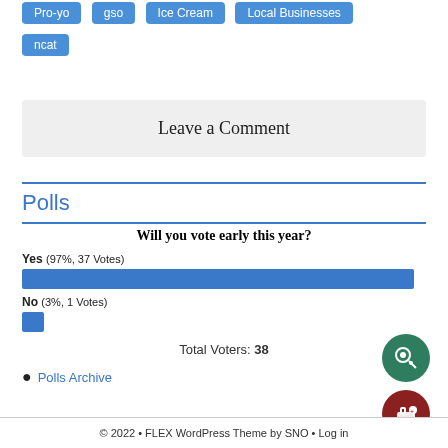Pro-yo | gso | Ice Cream | Local Businesses
ncat
Leave a Comment
Polls
[Figure (bar-chart): Will you vote early this year?]
Total Voters: 38
• Polls Archive
© 2022 • FLEX WordPress Theme by SNO • Log in